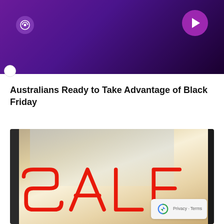[Figure (screenshot): Purple gradient banner header with a radio/wifi icon on the left and a purple play button on the right. A small white circle appears at the bottom-left edge of the banner.]
Australians Ready to Take Advantage of Black Friday
[Figure (photo): Photo of a shop window with large red neon-style SALE letters visible through the glass. The window reflects a building facade. Dark window frames on left and right. A reCAPTCHA privacy badge overlays the bottom-right corner.]